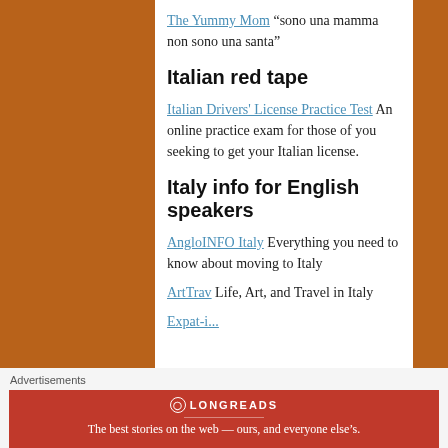The Yummy Mom “sono una mamma non sono una santa”
Italian red tape
Italian Drivers' License Practice Test An online practice exam for those of you seeking to get your Italian license.
Italy info for English speakers
AngloINFO Italy Everything you need to know about moving to Italy
ArtTrav Life, Art, and Travel in Italy
Advertisements
[Figure (infographic): Longreads advertisement banner: red background with Longreads logo and tagline 'The best stories on the web — ours, and everyone else’s.']